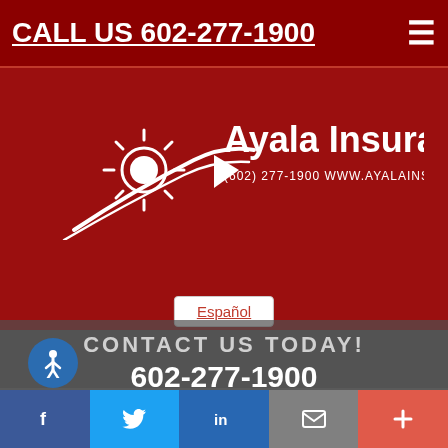CALL US 602-277-1900
[Figure (logo): Ayala Insurance logo with sun/road graphic. Text reads: Ayala Insurance (602) 277-1900 WWW.AYALAINSURANCE.COM]
Español
CONTACT US TODAY!
602-277-1900
First Name
Last Name
mail Address
[Figure (illustration): Accessibility icon - circular blue button with person symbol]
f  Twitter  in  Email  +